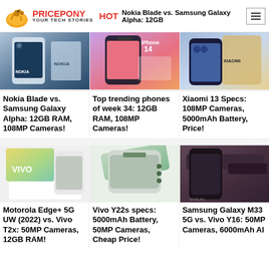PRICEPONY YOUR TECH STORIES | HOT | Nokia Blade vs. Samsung Galaxy Alpha: 12GB
[Figure (photo): Nokia smartphone on white box]
[Figure (photo): iPhone 14 smartphone on box with orange accents]
[Figure (photo): Xiaomi 13 smartphone with gold/blue packaging]
Nokia Blade vs. Samsung Galaxy Alpha: 12GB RAM, 108MP Cameras!
Top trending phones of week 34: 12GB RAM, 108MP Cameras!
Xiaomi 13 Specs: 108MP Cameras, 5000mAh Battery, Price!
[Figure (photo): Vivo smartphone with gold and green gradient box]
[Figure (photo): Vivo Y22s silver smartphone on white background]
[Figure (photo): Samsung Galaxy M33 dark phone with remote]
Motorola Edge+ 5G UW (2022) vs. Vivo T2x: 50MP Cameras, 12GB RAM!
Vivo Y22s specs: 5000mAh Battery, 50MP Cameras, Cheap Price!
Samsung Galaxy M33 5G vs. Vivo Y16: 50MP Cameras, 6000mAh Battery!